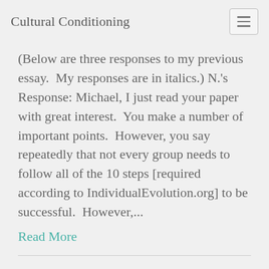Cultural Conditioning
(Below are three responses to my previous essay.  My responses are in italics.) N.'s Response: Michael, I just read your paper with great interest.  You make a number of important points.  However, you say repeatedly that not every group needs to follow all of the 10 steps [required according to IndividualEvolution.org] to be successful.  However,...
Read More
#BlackLivesMatter, Individual Evolution, and Institutionalized